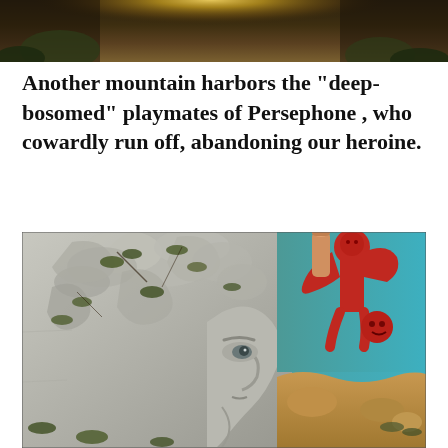[Figure (illustration): Top portion of a painting or artwork, dark tones with a glowing yellow/golden light visible at the top, appears to be a detail of a classical or mythological scene.]
Another mountain harbors the “deep-bosomed” playmates of Persephone , who cowardly run off, abandoning our heroine.
[Figure (illustration): A large detailed painting or illustration showing a classical stone or marble sculpted face with ornate scrolling decorations and moss/foliage growing through it, on the left side. On the right side, a teal/turquoise background with a red figure or demon-like character holding something, and below it rocky or sandy terrain.]